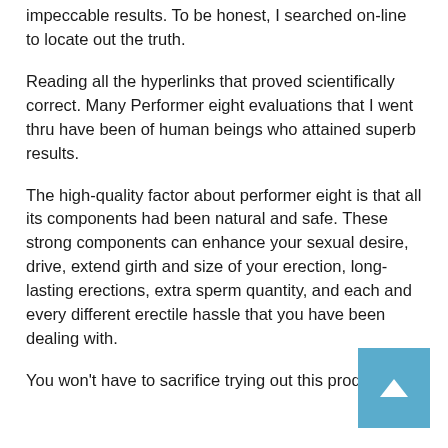impeccable results. To be honest, I searched on-line to locate out the truth.
Reading all the hyperlinks that proved scientifically correct. Many Performer eight evaluations that I went thru have been of human beings who attained superb results.
The high-quality factor about performer eight is that all its components had been natural and safe. These strong components can enhance your sexual desire, drive, extend girth and size of your erection, long-lasting erections, extra sperm quantity, and each and every different erectile hassle that you have been dealing with.
You won't have to sacrifice trying out this product if